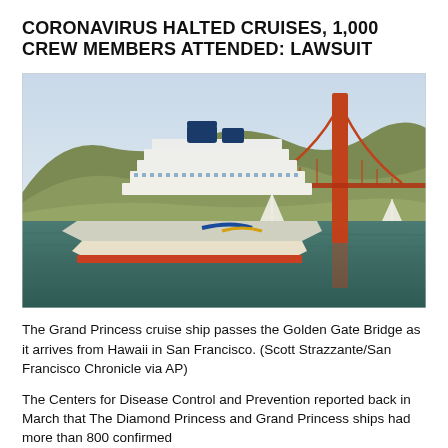CORONAVIRUS HALTED CRUISES, 1,000 CREW MEMBERS ATTENDED: LAWSUIT
[Figure (photo): The Grand Princess cruise ship passing in front of the Golden Gate Bridge with hills in the background, two sailboats visible on the water.]
The Grand Princess cruise ship passes the Golden Gate Bridge as it arrives from Hawaii in San Francisco. (Scott Strazzante/San Francisco Chronicle via AP)
The Centers for Disease Control and Prevention reported back in March that The Diamond Princess and Grand Princess ships had more than 800 confirmed